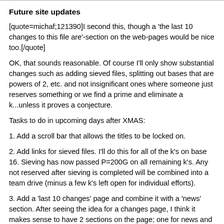Future site updates
[quote=michaf;121390]I second this, though a 'the last 10 changes to this file are'-section on the web-pages would be nice too.[/quote]
OK, that sounds reasonable. Of course I'll only show substantial changes such as adding sieved files, splitting out bases that are powers of 2, etc. and not insignificant ones where someone just reserves something or we find a prime and eliminate a k...unless it proves a conjecture.
Tasks to do in upcoming days after XMAS:
1. Add a scroll bar that allows the titles to be locked on.
2. Add links for sieved files. I'll do this for all of the k's on base 16. Sieving has now passed P=200G on all remaining k's. Any not reserved after sieving is completed will be combined into a team drive (minus a few k's left open for individual efforts).
3. Add a 'last 10 changes' page and combine it with a 'news' section. After seeing the idea for a changes page, I think it makes sense to have 2 sections on the page; one for news and one for changes. I don't want to get into a lot of duplicate maintenance on both the forums and the pages but I think that would be minimal for news.
4. Just added to my list this morning: Separate the Riesel and Sierp reservation page into one separate page each for Riesel and Sierp and add a new column to each for posting sieved files. Of course for